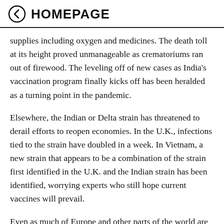← HOMEPAGE
supplies including oxygen and medicines. The death toll at its height proved unmanageable as crematoriums ran out of firewood. The leveling off of new cases as India's vaccination program finally kicks off has been heralded as a turning point in the pandemic.
Elsewhere, the Indian or Delta strain has threatened to derail efforts to reopen economies. In the U.K., infections tied to the strain have doubled in a week. In Vietnam, a new strain that appears to be a combination of the strain first identified in the U.K. and the Indian strain has been identified, worrying experts who still hope current vaccines will prevail.
Even as much of Europe and other parts of the world are